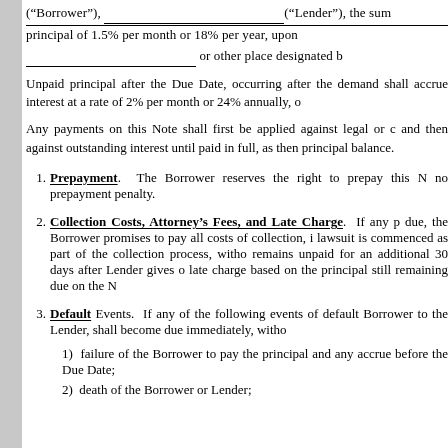("Borrower"), ___________________("Lender"), the sum of principal of 1.5% per month or 18% per year, upon ___________________ or other place designated b
Unpaid principal after the Due Date, occurring after the demand shall accrue interest at a rate of 2% per month or 24% annually, o
Any payments on this Note shall first be applied against legal or c and then against outstanding interest until paid in full, as then principal balance.
1. Prepayment. The Borrower reserves the right to prepay this N no prepayment penalty.
2. Collection Costs, Attorney's Fees, and Late Charge. If any p due, the Borrower promises to pay all costs of collection, i lawsuit is commenced as part of the collection process, witho remains unpaid for an additional 30 days after Lender gives o late charge based on the principal still remaining due on the N
3. Default Events. If any of the following events of default Borrower to the Lender, shall become due immediately, witho
1) failure of the Borrower to pay the principal and any accrue before the Due Date;
2) death of the Borrower or Lender;